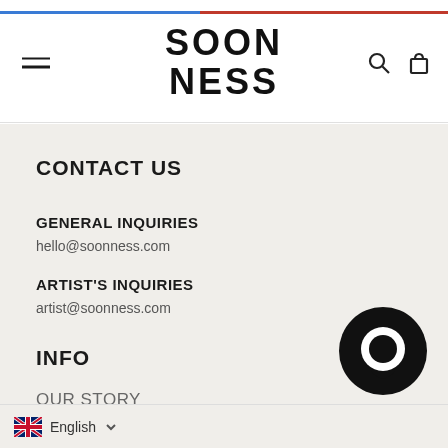SOONNESS
CONTACT US
GENERAL INQUIRIES
hello@soonness.com
ARTIST'S INQUIRIES
artist@soonness.com
INFO
OUR STORY
English